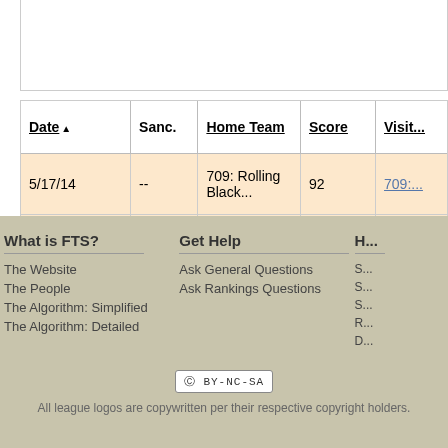300 pts
| Date ▲ | Sanc. | Home Team | Score | Visit... |
| --- | --- | --- | --- | --- |
| 5/17/14 | -- | 709: Rolling Black... | 92 | 709:... |
| 6/14/14 | -- | 709: Neversweets | 197 | 709:... |
What is FTS?
The Website
The People
The Algorithm: Simplified
The Algorithm: Detailed
Get Help
Ask General Questions
Ask Rankings Questions
[Figure (logo): Creative Commons BY-NC-SA license badge]
All league logos are copywritten per their respective copyright holders.